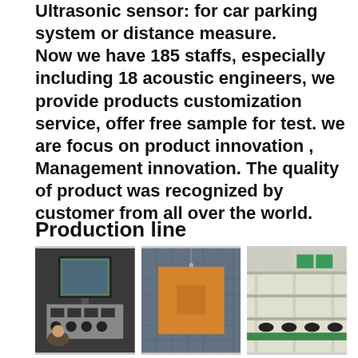Ultrasonic sensor: for car parking system or distance measure. Now we have 185 staffs, especially including 18 acoustic engineers, we provide products customization service, offer free sample for test. we are focus on product innovation , Management innovation. The quality of product was recognized by customer from all over the world.
Production line
[Figure (photo): Three production line photos: (1) worker at electronic testing equipment with monitor, (2) acoustic testing panel (orange square on foam-covered wall), (3) factory assembly conveyor line with shelving.]